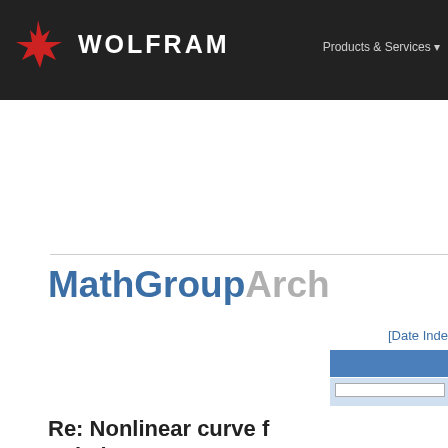WOLFRAM | Products & Services
[Figure (logo): Wolfram logo with red snowflake icon and white WOLFRAM text on dark background]
MathGroupArchive
[Date Index]
Re: Nonlinear curve f quietly
To: mathgroup at smc.vnet.net
Subject: [mg128416] Re: Nonlinear curve f